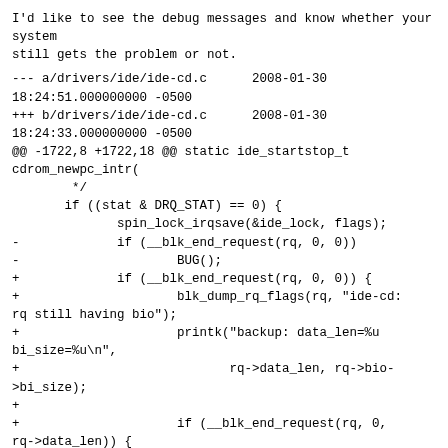I'd like to see the debug messages and know whether your system
still gets the problem or not.
--- a/drivers/ide/ide-cd.c	2008-01-30 18:24:51.000000000 -0500
+++ b/drivers/ide/ide-cd.c	2008-01-30 18:24:33.000000000 -0500
@@ -1722,8 +1722,18 @@ static ide_startstop_t cdrom_newpc_intr(
			 */
			if ((stat & DRQ_STAT) == 0) {
				spin_lock_irqsave(&ide_lock, flags);
-				if (__blk_end_request(rq, 0, 0))
-					BUG();
+				if (__blk_end_request(rq, 0, 0)) {
+					blk_dump_rq_flags(rq, "ide-cd: rq still having bio");
+					printk("backup: data_len=%u bi_size=%u\n",
+					       rq->data_len, rq->bio->bi_size);
+
+					if (__blk_end_request(rq, 0, rq->data_len)) {
+						blk_dump_rq_flags(rq, "ide-cd: BAD rq");
+						printk("backup: data_len=%u  bi_size=%u\n",
+						       rq->data_len,